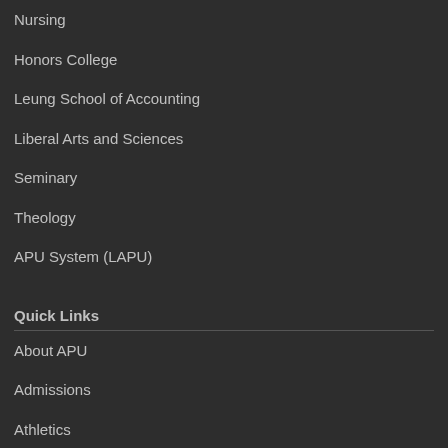Nursing
Honors College
Leung School of Accounting
Liberal Arts and Sciences
Seminary
Theology
APU System (LAPU)
Quick Links
About APU
Admissions
Athletics